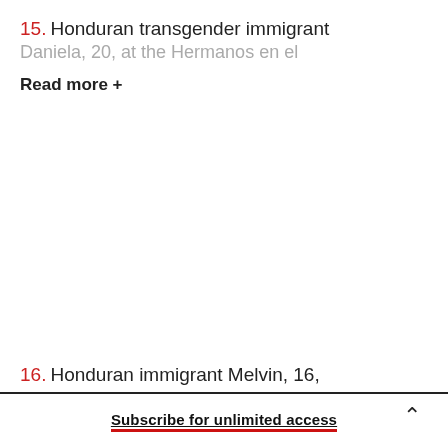15. Honduran transgender immigrant Daniela, 20, at the Hermanos en el
Read more +
16. Honduran immigrant Melvin, 16,
Subscribe for unlimited access